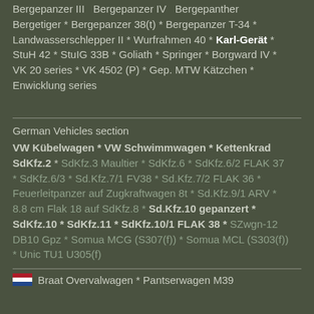Bergepanzer III * Bergepanzer IV * Bergepanther * Bergetiger * Bergepanzer 38(t) * Bergepanzer T-34 * Landwasserschlepper II * Wurfrahmen 40 * Karl-Gerät * StuH 42 * StuIG 33B * Goliath * Springer * Borgward IV * VK 20 series * VK 4502 (P) * Gep. MTW Kätzchen * Enwicklung series
German Vehicles section
VW Kübelwagen * VW Schwimmwagen * Kettenkrad * SdKfz.2 * SdKfz.3 Maultier * SdKfz.6 * SdKfz.6/2 FLAK 37 * SdKfz.6/3 * Sd.Kfz.7/1 FV38 * Sd.Kfz.7/2 FLAK 36 * Feuerleitpanzer auf Zugkraftwagen 8t * Sd.Kfz.9/1 ARV * 8.8 cm Flak 18 auf SdKfz.8 * Sd.Kfz.10 gepanzert * SdKfz.10 * SdKfz.11 * SdKfz.10/1 FLAK 38 * SZwgn-12 DB10 Gpz * Somua MCG (S307(f)) * Somua MCL (S303(f)) * Unic TU1 U305(f)
Braat Overvalwagen * Pantserwagen M39